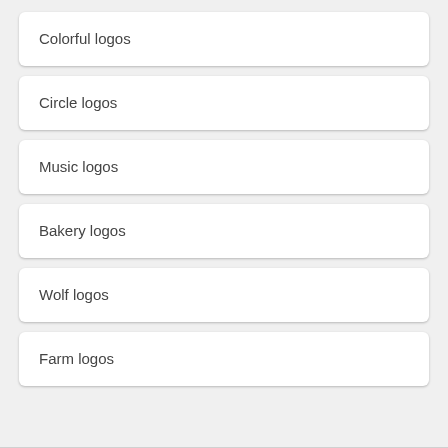Colorful logos
Circle logos
Music logos
Bakery logos
Wolf logos
Farm logos